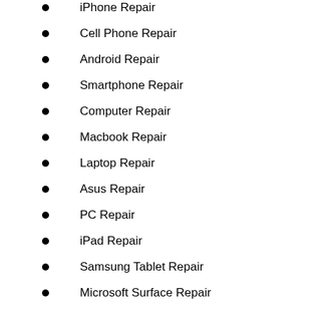iPhone Repair
Cell Phone Repair
Android Repair
Smartphone Repair
Computer Repair
Macbook Repair
Laptop Repair
Asus Repair
PC Repair
iPad Repair
Samsung Tablet Repair
Microsoft Surface Repair